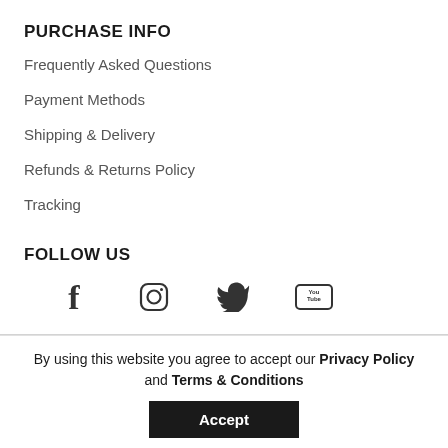PURCHASE INFO
Frequently Asked Questions
Payment Methods
Shipping & Delivery
Refunds & Returns Policy
Tracking
FOLLOW US
[Figure (infographic): Social media icons: Facebook, Instagram, Twitter, YouTube]
By using this website you agree to accept our Privacy Policy and Terms & Conditions
Accept